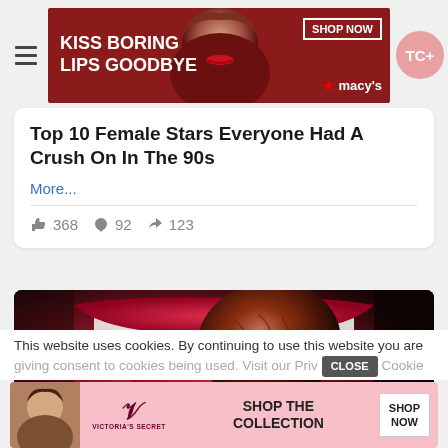[Figure (screenshot): Top advertisement banner for Macy's: 'KISS BORING LIPS GOODBYE', SHOP NOW button, Macy's star logo, with model photo]
Top 10 Female Stars Everyone Had A Crush On In The 90s
More...
368  92  123
[Figure (photo): Close-up of woman with red lips about to eat a piece of meat on a skewer/fork]
This website uses cookies. By continuing to use this website you are giving consent to cookies being used. Visit our Priv... Cookie
[Figure (screenshot): Victoria's Secret bottom advertisement: SHOP THE COLLECTION, SHOP NOW button]